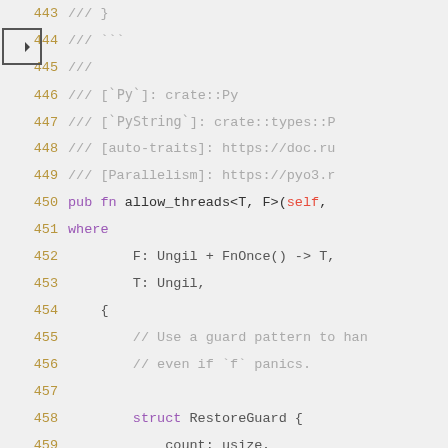[Figure (screenshot): Rust source code editor view showing lines 443–461 with syntax highlighting. Line 444 has an arrow/bookmark indicator. Code includes doc comments (///), a pub fn allow_threads<T, F> signature with where clause, and a struct RestoreGuard definition with fields count: usize and tstate: *mut ffi::PyThread...]
443    /// }
444    /// ```
445    ///
446    /// [`Py`]: crate::Py
447    /// [`PyString`]: crate::types::P
448    /// [auto-traits]: https://doc.ru
449    /// [Parallelism]: https://pyo3.r
450    pub fn allow_threads<T, F>(self,
451    where
452            F: Ungil + FnOnce() -> T,
453            T: Ungil,
454    {
455            // Use a guard pattern to han
456            // even if `f` panics.
457    
458            struct RestoreGuard {
459                count: usize,
460                tstate: *mut ffi::PyThrea
461    }